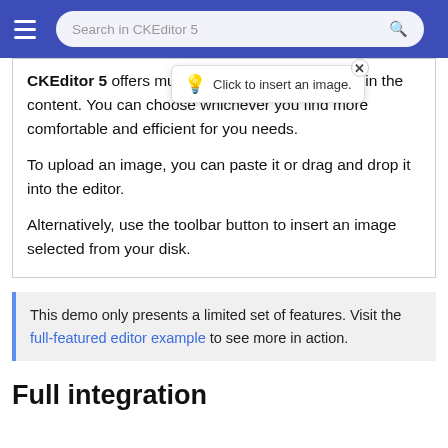Search in CKEditor 5
CKEditor 5 offers multiple ways to insert images in the content. You can choose whichever you find more comfortable and efficient for you needs.

To upload an image, you can paste it or drag and drop it into the editor.

Alternatively, use the toolbar button to insert an image selected from your disk.
[Figure (screenshot): Tooltip popup saying 'Click to insert an image.' with a lightbulb emoji and a close button]
This demo only presents a limited set of features. Visit the full-featured editor example to see more in action.
Full integration